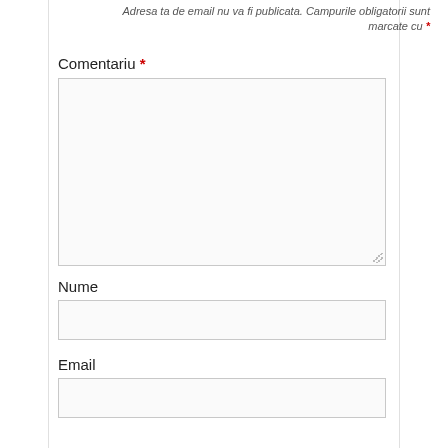Adresa ta de email nu va fi publicata. Campurile obligatorii sunt marcate cu *
Comentariu *
[Figure (other): Comment text area input box (empty)]
Nume
[Figure (other): Nume text input box (empty)]
Email
[Figure (other): Email text input box (empty)]